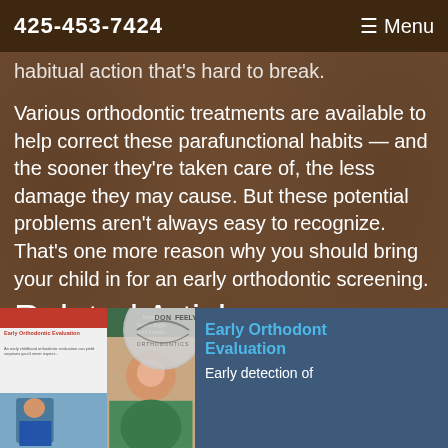425-453-7424   ≡ Menu
habitual action that's hard to break.
Various orthodontic treatments are available to help correct these parafunctional habits — and the sooner they're taken care of, the less damage they may cause. But these potential problems aren't always easy to recognize. That's one more reason why you should bring your child in for an early orthodontic screening.
Related Articles
[Figure (photo): Article thumbnail image showing Early Orthodontic Evaluation magazine article and Healthy Smiles Begin book with smiling woman]
Early Orthodontic Evaluation
Early detection of